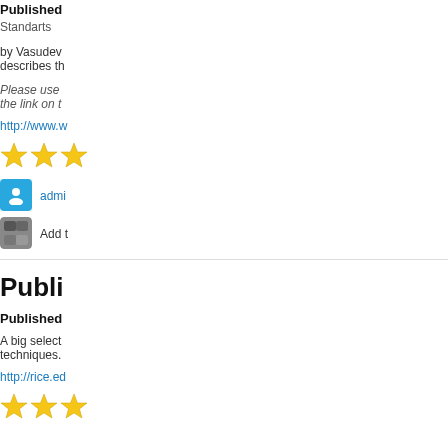Published
Standarts
by Vasudev
describes th
Please use
the link on t
http://www.w
[Figure (other): Three yellow star rating icons]
[Figure (other): Blue user/person icon]
admi
[Figure (other): Add to collection icon (gray)]
Add t
Publi
Published
A big select
techniques.
http://rice.ed